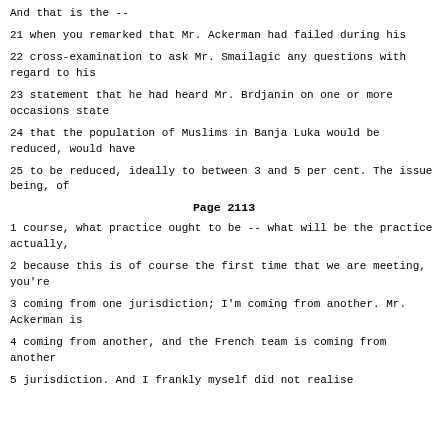And that is the --
21 when you remarked that Mr. Ackerman had failed during his
22 cross-examination to ask Mr. Smailagic any questions with regard to his
23 statement that he had heard Mr. Brdjanin on one or more occasions state
24 that the population of Muslims in Banja Luka would be reduced, would have
25 to be reduced, ideally to between 3 and 5 per cent. The issue being, of
Page 2113
1 course, what practice ought to be -- what will be the practice actually,
2 because this is of course the first time that we are meeting, you're
3 coming from one jurisdiction; I'm coming from another. Mr. Ackerman is
4 coming from another, and the French team is coming from another
5 jurisdiction. And I frankly myself did not realise